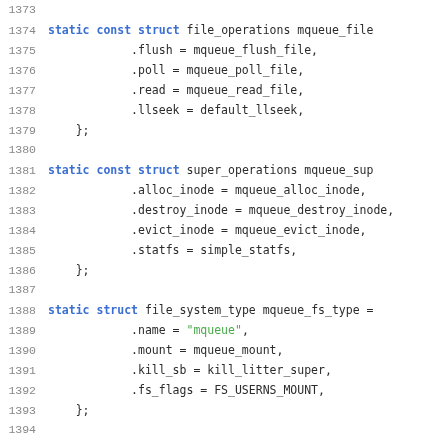Source code listing lines 1373-1394, C code defining file_operations, super_operations, and file_system_type structs for mqueue filesystem.